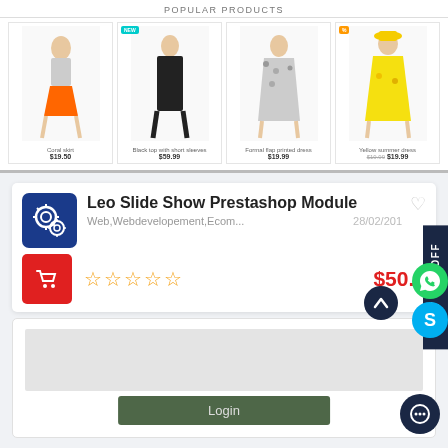POPULAR PRODUCTS
[Figure (screenshot): E-commerce product grid showing 4 fashion items: Coral skirt $19.50, Black top with short sleeves $59.99, Formal flap printed dress $19.99, Yellow summer dress (was $19.99 now $19.99)]
Leo Slide Show Prestashop Module
Web,Webdevelopement,Ecom...
28/02/201
[Figure (logo): Red cart/shopping button icon]
$50.0
[Figure (screenshot): Login button preview at bottom of page]
Login
FLAT 20% OFF